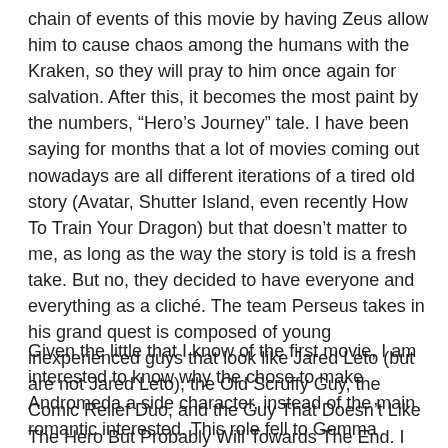chain of events of this movie by having Zeus allow him to cause chaos among the humans with the Kraken, so they will pray to him once again for salvation. After this, it becomes the most paint by the numbers, “Hero’s Journey” tale. I have been saying for months that a lot of movies coming out nowadays are all different iterations of a tired old story (Avatar, Shutter Island, even recently How To Train Your Dragon) but that doesn’t matter to me, as long as the way the story is told is a fresh take. But no, they decided to have everyone and everything as a cliché. The team Perseus takes in his grand quest is composed of young inexperienced guys that look like Jared Leto (but are not Jared Leto), the Old Scruffy Guy, the Comic Relief Duo, and the Guy That Doesn’t Like The Hero But Probably Will Towards The End. I know you’ve seen them all before, but this time they just have sandals and swords.
Given the little that I know of the first movie, I am interested to know why the chose to make Andromeda a side character, instead of the main romantic interested. This role fell to Gemma Arterton as Io, a beautiful woman cursed with immortality that inexplicably helps Perseus through his